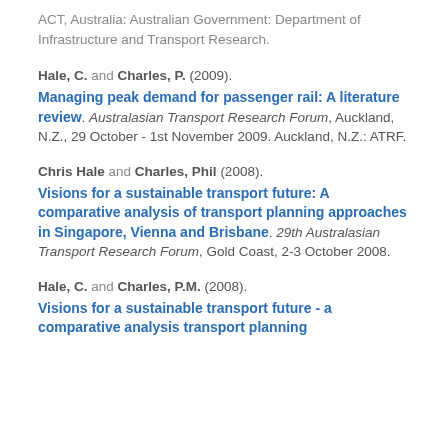ACT, Australia: Australian Government: Department of Infrastructure and Transport Research.
Hale, C. and Charles, P. (2009). Managing peak demand for passenger rail: A literature review. Australasian Transport Research Forum, Auckland, N.Z., 29 October - 1st November 2009. Auckland, N.Z.: ATRF.
Chris Hale and Charles, Phil (2008). Visions for a sustainable transport future: A comparative analysis of transport planning approaches in Singapore, Vienna and Brisbane. 29th Australasian Transport Research Forum, Gold Coast, 2-3 October 2008.
Hale, C. and Charles, P.M. (2008). Visions for a sustainable transport future - a comparative analysis transport planning